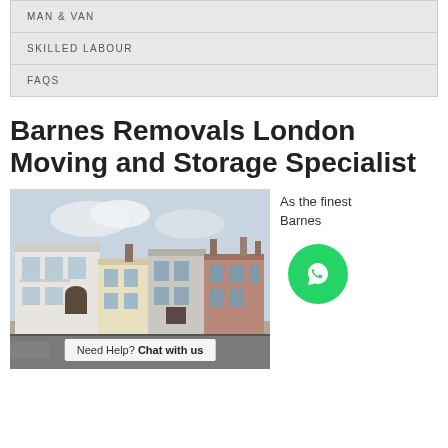MAN & VAN
SKILLED LABOUR
FAQS
Barnes Removals London Moving and Storage Specialist
[Figure (photo): Street view of Barnes, London showing a row of Georgian and Victorian townhouses along a main road.]
Need Help? Chat with us
As the finest Barnes